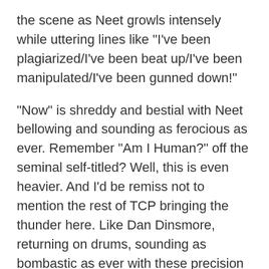the scene as Neet growls intensely while uttering lines like "I've been plagiarized/I've been beat up/I've been manipulated/I've been gunned down!"
"Now" is shreddy and bestial with Neet bellowing and sounding as ferocious as ever. Remember "Am I Human?" off the seminal self-titled? Well, this is even heavier. And I'd be remiss not to mention the rest of TCP bringing the thunder here. Like Dan Dinsmore, returning on drums, sounding as bombastic as ever with these precision attacks throughout. Then there's Brian McGarvey and his blistering guitars which reign supreme once again but that's not all! Walter Flakus of Stabbing Westward and The Dreaming adds his electro prowess alongside programmer Wade Alin while Chris Wyse of Hollywood Vampires and The Cult